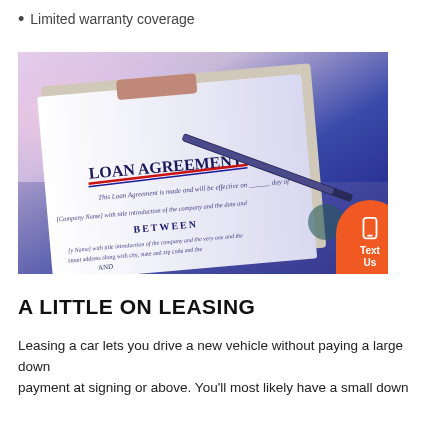Limited warranty coverage
[Figure (photo): Photo of a Loan Agreement document on a clipboard with a pen, set against a blue-toned background. The document shows the title 'LOAN AGREEMENT' in large text, with 'BETWEEN' visible below it. There is a red and blue underline beneath the title. Contact buttons (Text Us, chat, phone) appear on the right side in an orange rounded rectangle.]
A LITTLE ON LEASING
Leasing a car lets you drive a new vehicle without paying a large down payment at signing or above. You'll most likely have a small down